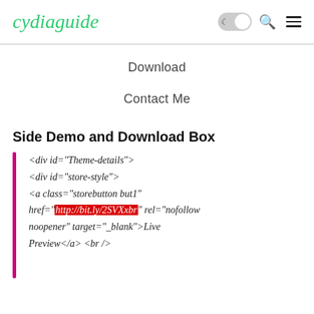cydiaguide
Download
Contact Me
Side Demo and Download Box
<div id="Theme-details">
<div id="store-style">
<a class="storebutton but1"
href="http://bit.ly/2SVXxbr" rel="nofollow
noopener" target="_blank">Live
Preview</a> <br />